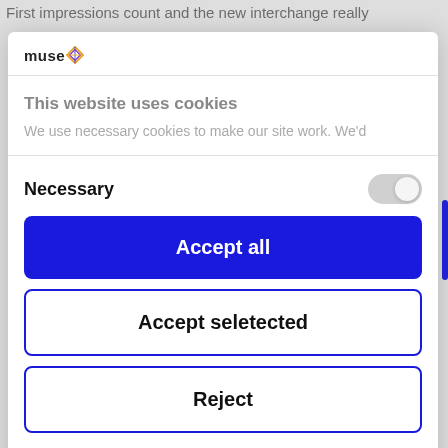First impressions count and the new interchange really
[Figure (logo): Muse logo with diamond shape in orange/blue/purple colors]
This website uses cookies
We use necessary cookies to make our site work. We'd
Necessary
Accept all
Accept seletected
Reject
Powered by Cookiebot by Usercentrics
Plans Partnership and constructed by Downer and